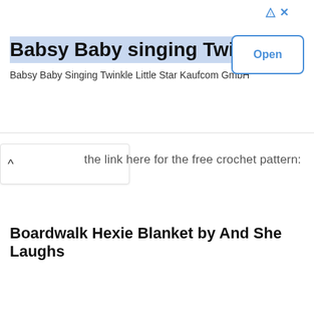[Figure (other): Advertisement banner: Babsy Baby singing Twinkle with Open button]
the link here for the free crochet pattern:
Boardwalk Hexie Blanket by And She Laughs